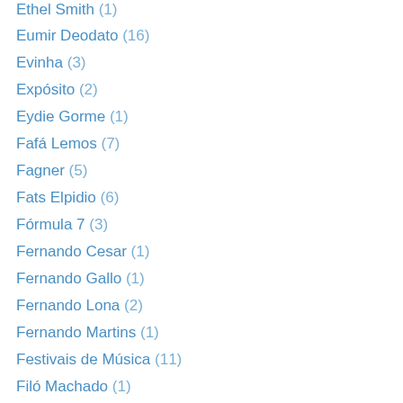Ethel Smith (1)
Eumir Deodato (16)
Evinha (3)
Expósito (2)
Eydie Gorme (1)
Fafá Lemos (7)
Fagner (5)
Fats Elpidio (6)
Fórmula 7 (3)
Fernando Cesar (1)
Fernando Gallo (1)
Fernando Lona (2)
Fernando Martins (1)
Festivais de Música (11)
Filó Machado (1)
Flora Purim (5)
Flying Banana (1)
Fogueira Tres (2)
Formiga (1)
Francis Hime (3)